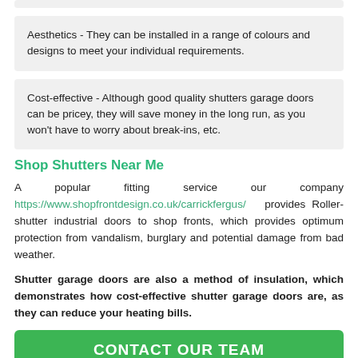Aesthetics - They can be installed in a range of colours and designs to meet your individual requirements.
Cost-effective - Although good quality shutters garage doors can be pricey, they will save money in the long run, as you won't have to worry about break-ins, etc.
Shop Shutters Near Me
A popular fitting service our company https://www.shopfrontdesign.co.uk/carrickfergus/ provides Roller-shutter industrial doors to shop fronts, which provides optimum protection from vandalism, burglary and potential damage from bad weather.
Shutter garage doors are also a method of insulation, which demonstrates how cost-effective shutter garage doors are, as they can reduce your heating bills.
CONTACT OUR TEAM